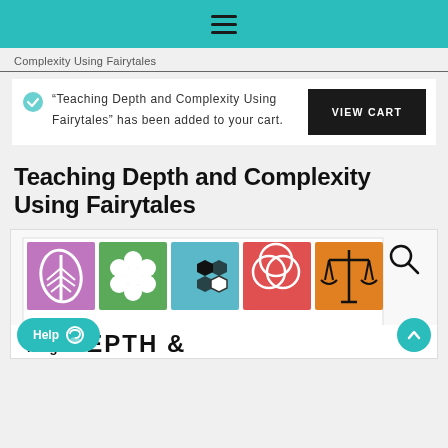≡
Complexity Using Fairytales
"Teaching Depth and Complexity Using Fairytales" has been added to your cart.
Teaching Depth and Complexity Using Fairytales
[Figure (screenshot): Product image showing colorful icons (leaf, flower, hexagons, circles, scales) for Teaching Depth & Complexity Using Fairytales, with a magnifier icon and partial text 'TEACHING DEPTH &']